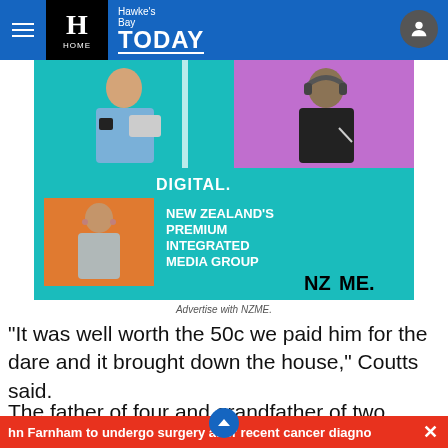Hawke's Bay TODAY
[Figure (photo): NZME advertisement banner showing people in digital media contexts with text 'DIGITAL. NEW ZEALAND'S PREMIUM INTEGRATED MEDIA GROUP NZME.']
Advertise with NZME.
"It was well worth the 50c we paid him for the dare and it brought down the house," Coutts said.
The father of four and grandfather of two recalled an
hn Farnham to undergo surgery after recent cancer diagno